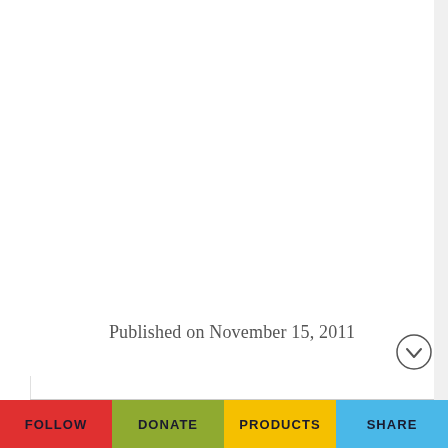Published on November 15, 2011
FOLLOW  DONATE  PRODUCTS  SHARE